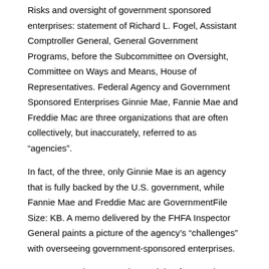Risks and oversight of government sponsored enterprises: statement of Richard L. Fogel, Assistant Comptroller General, General Government Programs, before the Subcommittee on Oversight, Committee on Ways and Means, House of Representatives. Federal Agency and Government Sponsored Enterprises Ginnie Mae, Fannie Mae and Freddie Mac are three organizations that are often collectively, but inaccurately, referred to as “agencies”.
In fact, of the three, only Ginnie Mae is an agency that is fully backed by the U.S. government, while Fannie Mae and Freddie Mac are GovernmentFile Size: KB. A memo delivered by the FHFA Inspector General paints a picture of the agency’s “challenges” with overseeing government-sponsored enterprises.
4 A Framework For Board Oversight of Enterprise Risk Board organization and structure for addressing risk Various models of board organization are currently used for the oversight of risk. In many cases, risk assessment is delegated to one or more board committees.
In other cases, the board as a whole takes on the responsibility. Buy a